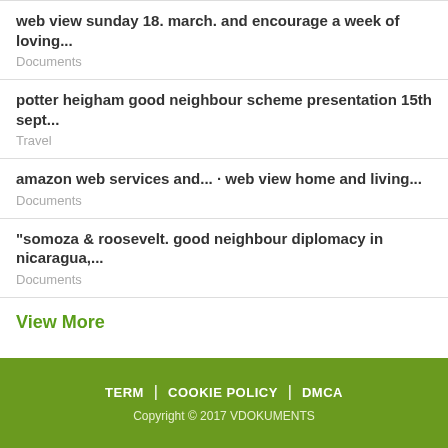web view sunday 18. march. and encourage a week of loving...
Documents
potter heigham good neighbour scheme presentation 15th sept...
Travel
amazon web services and... · web view home and living...
Documents
"somoza & roosevelt. good neighbour diplomacy in nicaragua,...
Documents
View More
TERM | COOKIE POLICY | DMCA
Copyright © 2017 VDOKUMENTS